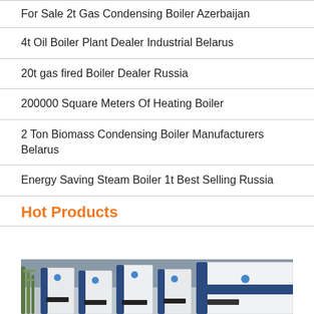For Sale 2t Gas Condensing Boiler Azerbaijan
4t Oil Boiler Plant Dealer Industrial Belarus
20t gas fired Boiler Dealer Russia
200000 Square Meters Of Heating Boiler
2 Ton Biomass Condensing Boiler Manufacturers Belarus
Energy Saving Steam Boiler 1t Best Selling Russia
Hot Products
[Figure (photo): Row of industrial gas condensing boiler units in white and navy blue casings, displayed outdoors with bamboo in background. Units labeled HS-700.]